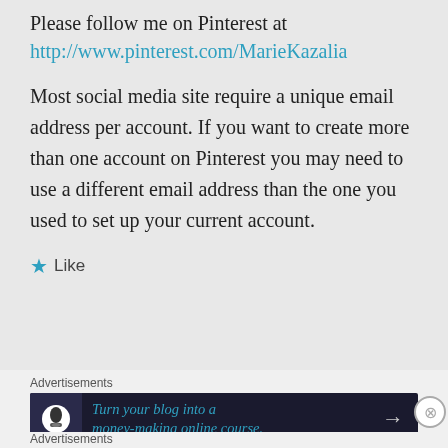Please follow me on Pinterest at
http://www.pinterest.com/MarieKazalia
Most social media site require a unique email address per account. If you want to create more than one account on Pinterest you may need to use a different email address than the one you used to set up your current account.
★ Like
Advertisements
[Figure (infographic): Dark advertisement banner: Turn your blog into a money-making online course. with arrow]
Advertisements
[Figure (infographic): WordPress VIP advertisement banner with Learn more button]